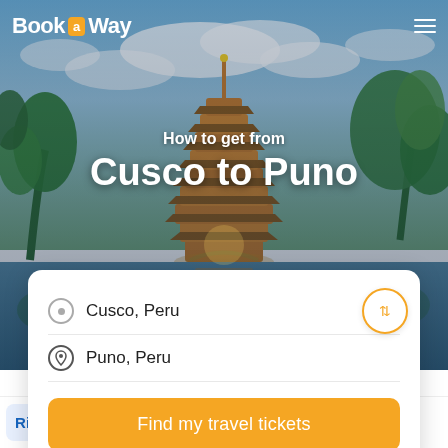[Figure (screenshot): Hero background image showing a scenic Asian pagoda tower surrounded by tropical palm trees and lush green trees with a blue cloudy sky, reflected in water below]
Book a Way
How to get from
Cusco to Puno
Cusco, Peru
Puno, Peru
Find my travel tickets
Ride options    Inspiration    Reviews    FAQ